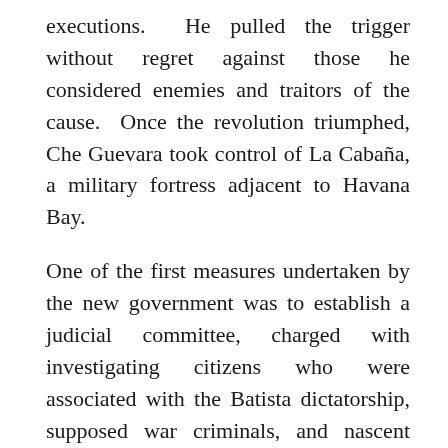executions. He pulled the trigger without regret against those he considered enemies and traitors of the cause. Once the revolution triumphed, Che Guevara took control of La Cabaña, a military fortress adjacent to Havana Bay.
One of the first measures undertaken by the new government was to establish a judicial committee, charged with investigating citizens who were associated with the Batista dictatorship, supposed war criminals, and nascent political opponents.
Between January and April of 1959, approximately one thousand persons – other